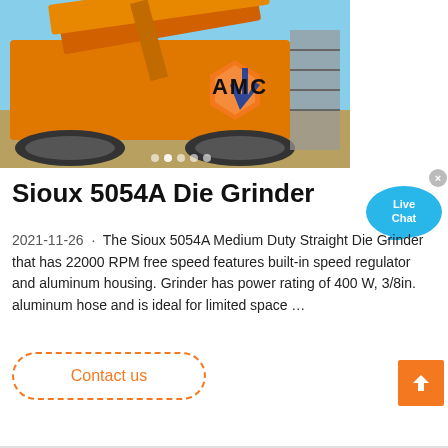[Figure (photo): Large yellow/orange heavy mining machinery (crawler/mobile crusher) with blue sky background, with AMC logo watermark overlay]
Sioux 5054A Die Grinder
2021-11-26 · The Sioux 5054A Medium Duty Straight Die Grinder that has 22000 RPM free speed features built-in speed regulator and aluminum housing. Grinder has power rating of 400 W, 3/8in. aluminum hose and is ideal for limited space …
Contact us